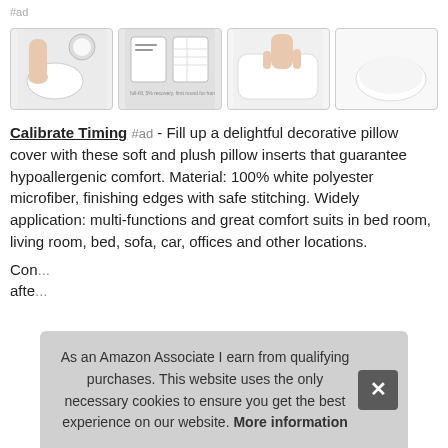#ad
[Figure (photo): Four product thumbnail images of white pillow inserts shown from different angles]
Calibrate Timing #ad - Fill up a delightful decorative pillow cover with these soft and plush pillow inserts that guarantee hypoallergenic comfort. Material: 100% white polyester microfiber, finishing edges with safe stitching. Widely application: multi-functions and great comfort suits in bed room, living room, bed, sofa, car, offices and other locations.
Con... afte...
As an Amazon Associate I earn from qualifying purchases. This website uses the only necessary cookies to ensure you get the best experience on our website. More information